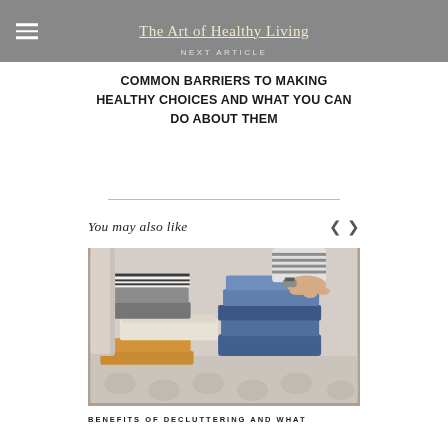The Art of Healthy Living | NEXT ARTICLE
COMMON BARRIERS TO MAKING HEALTHY CHOICES AND WHAT YOU CAN DO ABOUT THEM
You may also like
[Figure (photo): Person folding and sorting stacks of clothing — jeans, striped shirts, grey and orange garments — on a patterned surface. Person wears a striped top and watch.]
BENEFITS OF DECLUTTERING AND WHAT